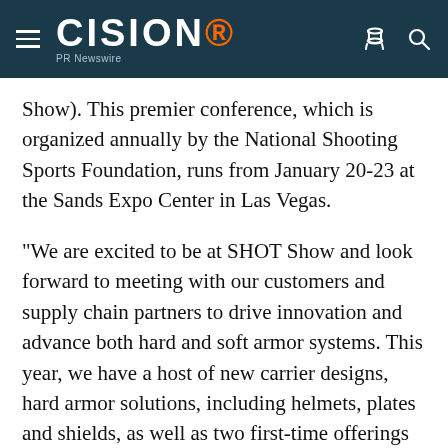CISION PR Newswire
Show). This premier conference, which is organized annually by the National Shooting Sports Foundation, runs from January 20-23 at the Sands Expo Center in Las Vegas.
"We are excited to be at SHOT Show and look forward to meeting with our customers and supply chain partners to drive innovation and advance both hard and soft armor systems. This year, we have a host of new carrier designs, hard armor solutions, including helmets, plates and shields, as well as two first-time offerings in the form of an EOD ("bomb") suit and weapon retention system, which we believe will r...